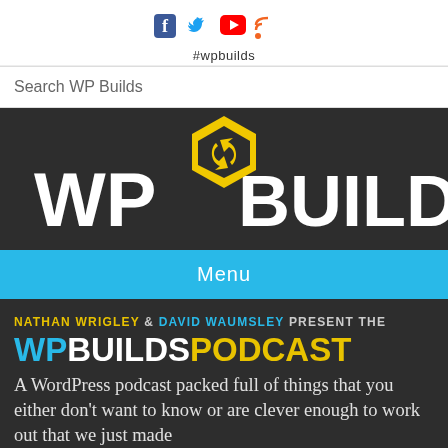[Figure (logo): Social media icons: Facebook (blue f), Twitter (blue bird), YouTube (red play button), RSS (orange RSS icon)]
#wpbuilds
Search WP Builds
[Figure (logo): WP Builds logo: dark background with large white text WP and BUILDS on either side of a yellow hexagonal wrench/tool icon]
Menu
NATHAN WRIGLEY & DAVID WAUMSLEY PRESENT THE
WPBUILDSPODCAST
A WordPress podcast packed full of things that you either don't want to know or are clever enough to work out that we just made